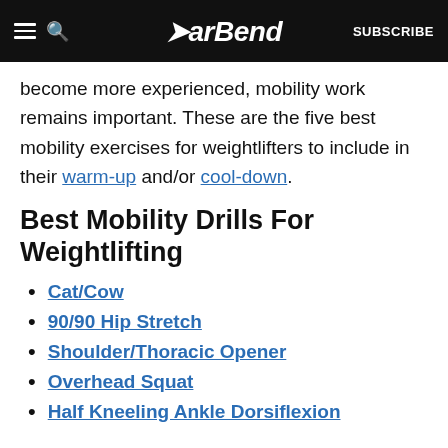BarBend — SUBSCRIBE
become more experienced, mobility work remains important. These are the five best mobility exercises for weightlifters to include in their warm-up and/or cool-down.
Best Mobility Drills For Weightlifting
Cat/Cow
90/90 Hip Stretch
Shoulder/Thoracic Opener
Overhead Squat
Half Kneeling Ankle Dorsiflexion